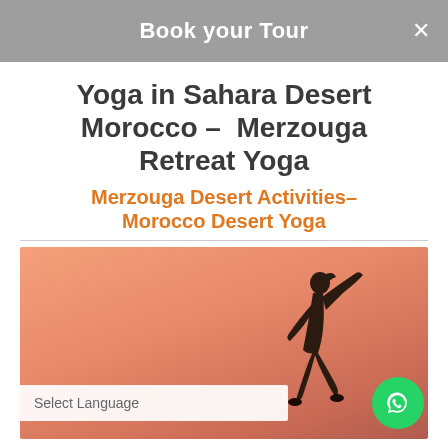Book your Tour
Yoga in Sahara Desert Morocco – Merzouga Retreat Yoga
Merzouga Desert Activities– Morocco Desert Yoga
[Figure (photo): Person performing a yoga pose silhouetted against a warm peachy-orange desert sky background]
Select Language